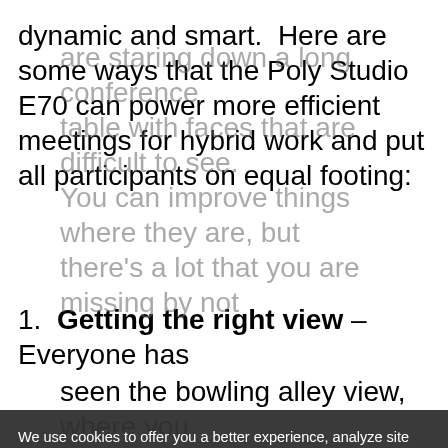dynamic and smart.  Here are some ways that the Poly Studio E70 can power more efficient meetings for hybrid work and put all participants on equal footing:
Getting the right view – Everyone has seen the bowling alley view, where you are staring down a long conference table with faces that are difficult to see. You can improve things where they are, but there's a lot that you are missing by not being physically there. Poly DirectorAI video experiences delivered in the Poly Studio camera line, using tried and true
We use cookies to offer you a better experience, analyze site traffic, and serve targeted advertisements. By continuing to use this website, you consent to the use of cookies in accordance with our Cookie Policy.